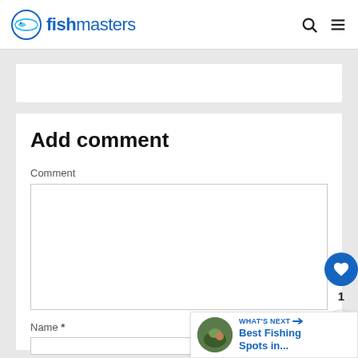fishmasters
Add comment
Comment
Name *